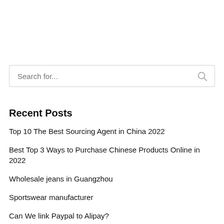[Figure (other): Search input box with placeholder text 'Search for...' and a search icon on the right]
Recent Posts
Top 10 The Best Sourcing Agent in China 2022
Best Top 3 Ways to Purchase Chinese Products Online in 2022
Wholesale jeans in Guangzhou
Sportswear manufacturer
Can We link Paypal to Alipay?